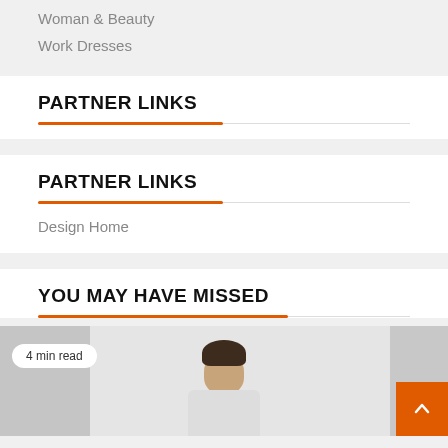Woman & Beauty
Work Dresses
PARTNER LINKS
PARTNER LINKS
Design Home
YOU MAY HAVE MISSED
[Figure (photo): Person reading or working, shown from head up, with curtains/interior background. Badge overlay reads '4 min read'. Orange scroll-to-top button in bottom right corner.]